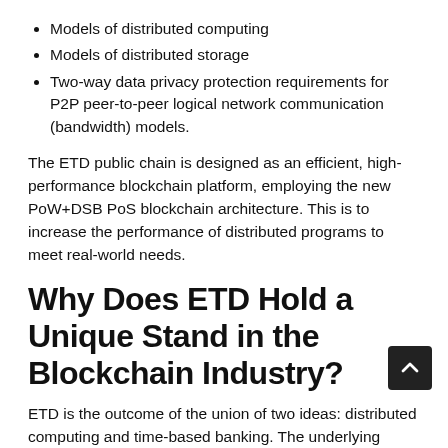Models of distributed computing
Models of distributed storage
Two-way data privacy protection requirements for P2P peer-to-peer logical network communication (bandwidth) models.
The ETD public chain is designed as an efficient, high-performance blockchain platform, employing the new PoW+DSB PoS blockchain architecture. This is to increase the performance of distributed programs to meet real-world needs.
Why Does ETD Hold a Unique Stand in the Blockchain Industry?
ETD is the outcome of the union of two ideas: distributed computing and time-based banking. The underlying idea of time-based banking was that everyone's time was equal in value. Thus a bank's time-based currency